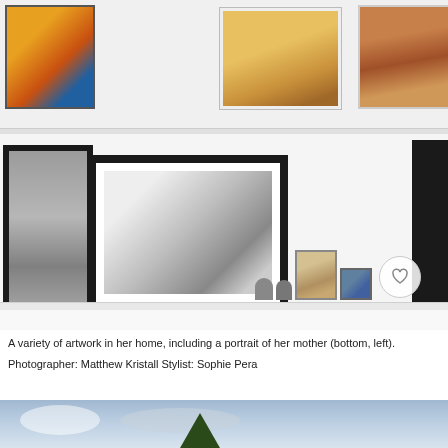[Figure (photo): A wall display with multiple framed artworks and decorative objects on a shelf. The top row shows colorful paintings including an abstract work on the left, an impressionist-style portrait in the center, and another painting on the right. The lower shelf features a tall narrow black-framed photo on the left, a larger black-framed black-and-white photograph in the center showing a shoe/object detail, a dark frame on the far right, and small decorative objects including figurines, a small portrait, a decorative tile, and a white heart-circle icon.]
A variety of artwork in her home, including a portrait of her mother (bottom, left).
Photographer: Matthew Kristall Stylist: Sophie Pera
[Figure (photo): Bottom portion of a sky photo with blue-grey clouds and a tree top visible at the bottom.]